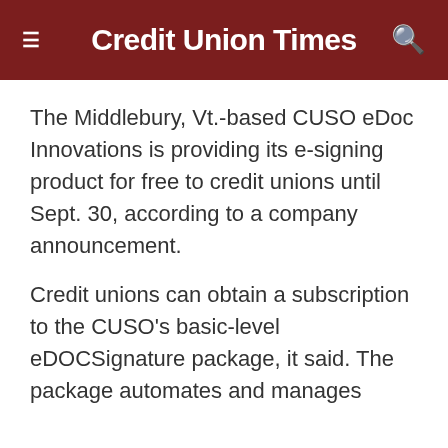Credit Union Times
The Middlebury, Vt.-based CUSO eDoc Innovations is providing its e-signing product for free to credit unions until Sept. 30, according to a company announcement.
Credit unions can obtain a subscription to the CUSO's basic-level eDOCSignature package, it said. The package automates and manages